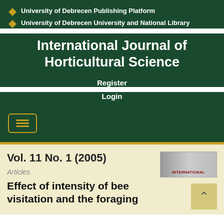University of Debrecen Publishing Platform
University of Debrecen University and National Library
International Journal of Horticultural Science
Register
Login
Vol. 11 No. 1 (2005)
Articles
Effect of intensity of bee visitation and the foraging